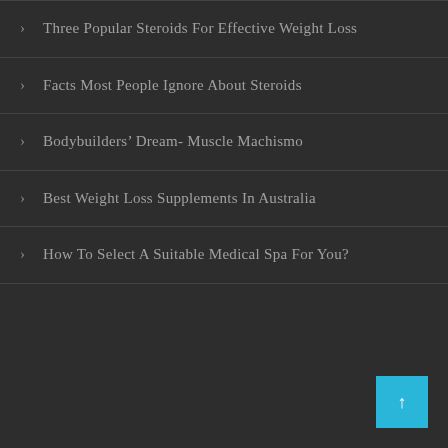Three Popular Steroids For Effective Weight Loss
Facts Most People Ignore About Steroids
Bodybuilders' Dream- Muscle Machismo
Best Weight Loss Supplements In Australia
How To Select A Suitable Medical Spa For You?